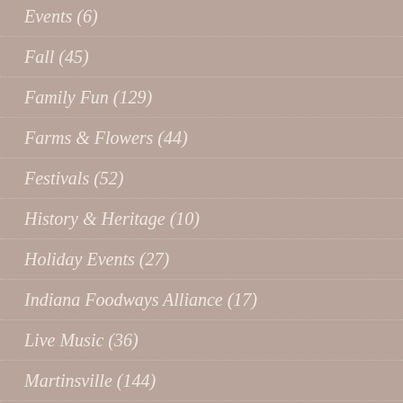Events (6)
Fall (45)
Family Fun (129)
Farms & Flowers (44)
Festivals (52)
History & Heritage (10)
Holiday Events (27)
Indiana Foodways Alliance (17)
Live Music (36)
Martinsville (144)
Monrovia (21)